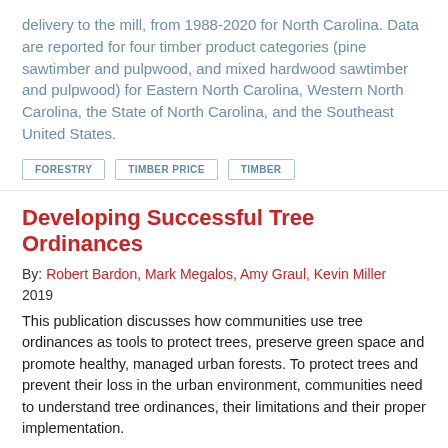delivery to the mill, from 1988-2020 for North Carolina. Data are reported for four timber product categories (pine sawtimber and pulpwood, and mixed hardwood sawtimber and pulpwood) for Eastern North Carolina, Western North Carolina, the State of North Carolina, and the Southeast United States.
FORESTRY
TIMBER PRICE
TIMBER
Developing Successful Tree Ordinances
By: Robert Bardon, Mark Megalos, Amy Graul, Kevin Miller
2019
This publication discusses how communities use tree ordinances as tools to protect trees, preserve green space and promote healthy, managed urban forests. To protect trees and prevent their loss in the urban environment, communities need to understand tree ordinances, their limitations and their proper implementation.
LAWS AND REGULATIONS
URBAN PLANNING